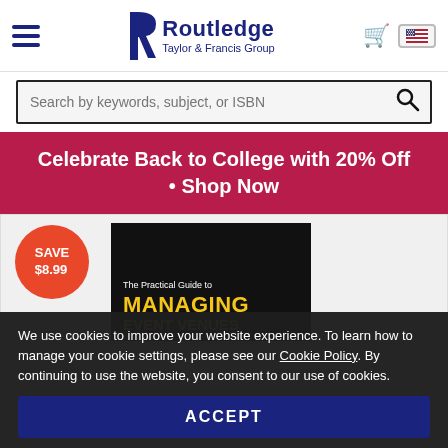[Figure (logo): Routledge Taylor & Francis Group logo with hamburger menu, cart icon, and US flag button]
Search by keywords, subject, or ISBN
Celebrate Back to College with 20% Off • Shop Now
[Figure (photo): Book cover: The Practical Guide to MANAGING EVENT VENUES, with red SAVE $8.99 badge]
We use cookies to improve your website experience. To learn how to manage your cookie settings, please see our Cookie Policy. By continuing to use the website, you consent to our use of cookies.
ACCEPT